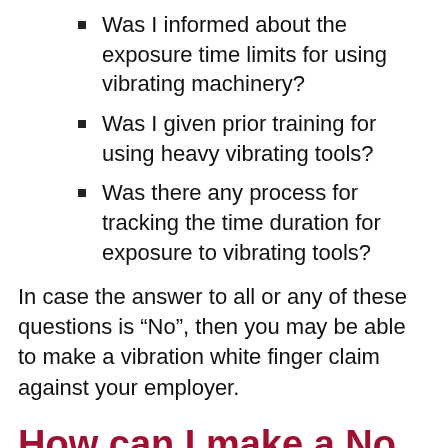Was I informed about the exposure time limits for using vibrating machinery?
Was I given prior training for using heavy vibrating tools?
Was there any process for tracking the time duration for exposure to vibrating tools?
In case the answer to all or any of these questions is “No”, then you may be able to make a vibration white finger claim against your employer.
How can I make a No Win No Fees Claim against